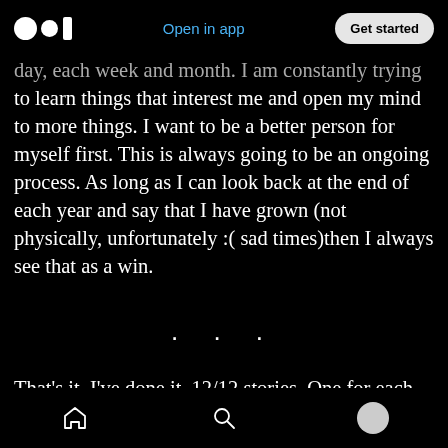Medium app header with logo, 'Open in app' link, and 'Get started' button
day, each week and month. I am constantly trying to learn things that interest me and open my mind to more things. I want to be a better person for myself first. This is always going to be an ongoing process. As long as I can look back at the end of each year and say that I have grown (not physically, unfortunately :( sad times)then I always see that as a win.
. . .
That's it. I've done it. 12/12 stories. One for each month. These stories aren't perfect and they don't
Bottom navigation bar with home, search, and profile icons